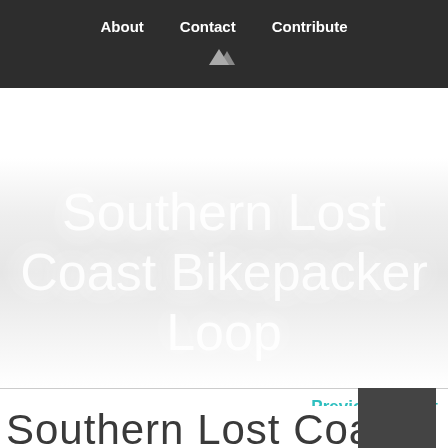About    Contact    Contribute
Southern Lost Coast Bikepacker Loop
Previous    Next
Southern Lost Coast